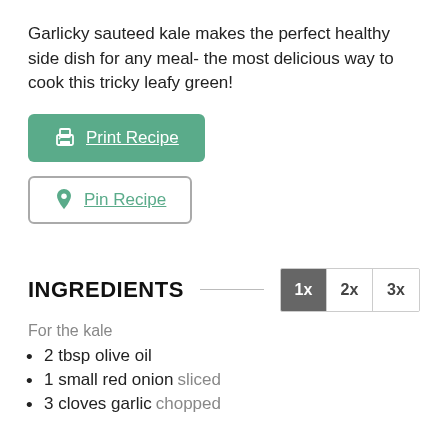Garlicky sauteed kale makes the perfect healthy side dish for any meal- the most delicious way to cook this tricky leafy green!
[Figure (other): Green 'Print Recipe' button with printer icon]
[Figure (other): White 'Pin Recipe' button with Pinterest icon]
INGREDIENTS
For the kale
2 tbsp olive oil
1 small red onion sliced
3 cloves garlic chopped